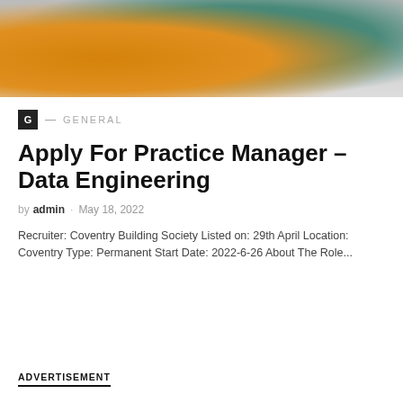[Figure (photo): Photo of a person in a yellow/orange top and teal patterned top writing at a desk, viewed from above]
G — GENERAL
Apply For Practice Manager – Data Engineering
by admin · May 18, 2022
Recruiter: Coventry Building Society Listed on: 29th April Location: Coventry Type: Permanent Start Date: 2022-6-26 About The Role...
ADVERTISEMENT